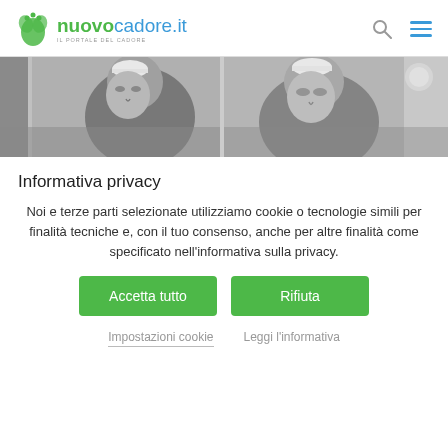nuovocadore.it - IL PORTALE DEL CADORE
[Figure (photo): Two grayscale photos side by side showing elderly men, partially obscured by cookie consent overlay]
Informativa privacy
Noi e terze parti selezionate utilizziamo cookie o tecnologie simili per finalità tecniche e, con il tuo consenso, anche per altre finalità come specificato nell'informativa sulla privacy.
Accetta tutto
Rifiuta
Impostazioni cookie
Leggi l'informativa